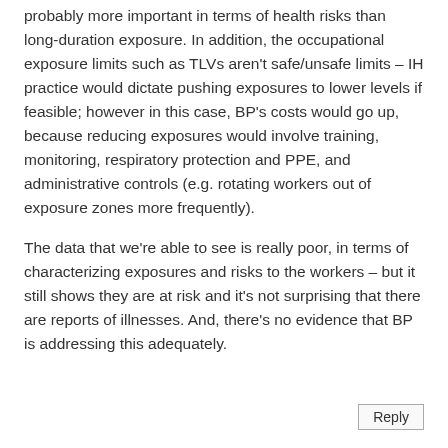probably more important in terms of health risks than long-duration exposure. In addition, the occupational exposure limits such as TLVs aren't safe/unsafe limits – IH practice would dictate pushing exposures to lower levels if feasible; however in this case, BP's costs would go up, because reducing exposures would involve training, monitoring, respiratory protection and PPE, and administrative controls (e.g. rotating workers out of exposure zones more frequently).
The data that we're able to see is really poor, in terms of characterizing exposures and risks to the workers – but it still shows they are at risk and it's not surprising that there are reports of illnesses. And, there's no evidence that BP is addressing this adequately.